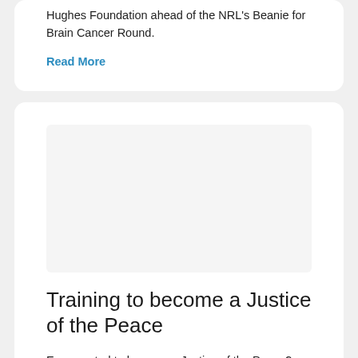Hughes Foundation ahead of the NRL's Beanie for Brain Cancer Round.
Read More
[Figure (photo): Large image placeholder for the Training to become a Justice of the Peace article]
Training to become a Justice of the Peace
Ever wanted to become a Justice of the Peace? Now is